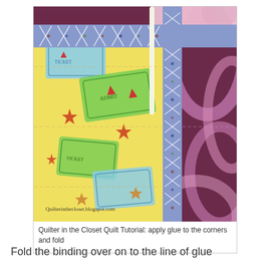[Figure (photo): Close-up photo of quilt binding being applied to corner of a quilt. The quilt fabric has a yellow background with green and blue ticket/stamp motifs and red/brown stars. A blue patterned binding strip is folded over the edge with a white glue applicator visible. A purple floral fabric is seen in the background. Watermark reads: quilterintheclostblogspot.com]
Quilter in the Closet Quilt Tutorial: apply glue to the corners and fold
Fold the binding over on to the line of glue